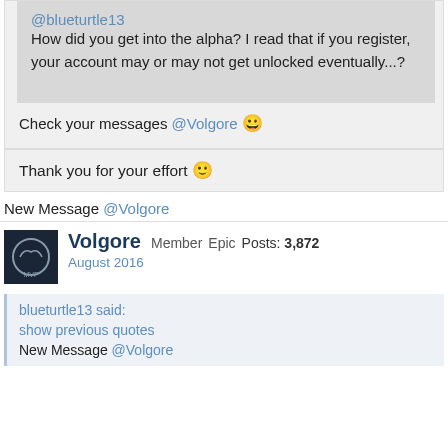@blueturtle13
How did you get into the alpha? I read that if you register, your account may or may not get unlocked eventually...?
Check your messages @Volgore 😀
Thank you for your effort 🙂
New Message @Volgore
Volgore Member Epic Posts: 3,872
August 2016
blueturtle13 said:
show previous quotes
New Message @Volgore